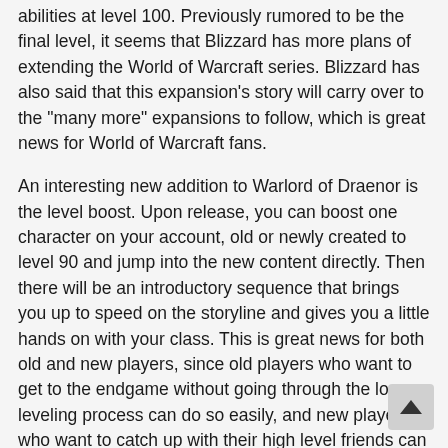abilities at level 100. Previously rumored to be the final level, it seems that Blizzard has more plans of extending the World of Warcraft series. Blizzard has also said that this expansion's story will carry over to the "many more" expansions to follow, which is great news for World of Warcraft fans.
An interesting new addition to Warlord of Draenor is the level boost. Upon release, you can boost one character on your account, old or newly created to level 90 and jump into the new content directly. Then there will be an introductory sequence that brings you up to speed on the storyline and gives you a little hands on with your class. This is great news for both old and new players, since old players who want to get to the endgame without going through the long leveling process can do so easily, and new players who want to catch up with their high level friends can do so faster as well. Although, we must say that the leveling process is a big chunk of the game since you explore the world, interact with characters and learn how to play your class, so it is definitely a matter of concern whether new players will be competent enough to be useful in the endgame. Blizzard has said that the...